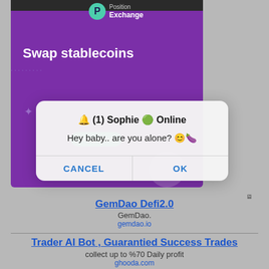[Figure (screenshot): Screenshot of Position Exchange website showing 'Swap stablecoins' text on purple background with a mobile dialog box overlay saying '🔔 (1) Sophie 🟢 Online' with message 'Hey baby.. are you alone? 😊🍆' and CANCEL / OK buttons]
GemDao Defi2.0
GemDao.
gemdao.io
Trader AI Bot , Guarantied Success Trades
collect up to %70 Daily profit
ghooda.com